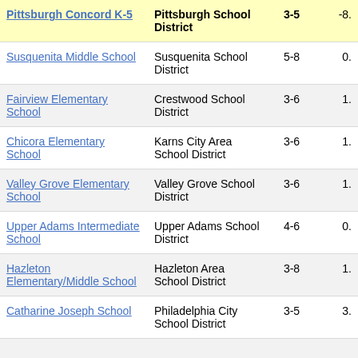| School | District | Grades | Value |
| --- | --- | --- | --- |
| Pittsburgh Concord K-5 | Pittsburgh School District | 3-5 | -8. |
| Susquenita Middle School | Susquenita School District | 5-8 | 0. |
| Fairview Elementary School | Crestwood School District | 3-6 | 1. |
| Chicora Elementary School | Karns City Area School District | 3-6 | 1. |
| Valley Grove Elementary School | Valley Grove School District | 3-6 | 1. |
| Upper Adams Intermediate School | Upper Adams School District | 4-6 | 0. |
| Hazleton Elementary/Middle School | Hazleton Area School District | 3-8 | 1. |
| Catharine Joseph School | Philadelphia City School District | 3-5 | 3. |